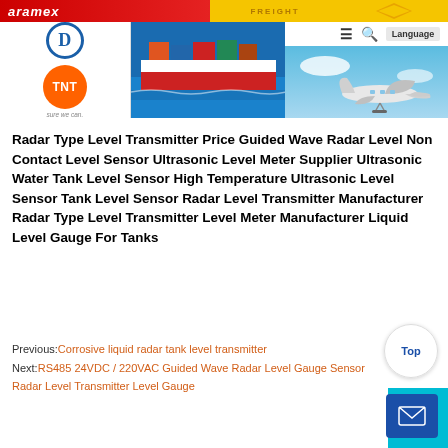[Figure (screenshot): Website header banner showing shipping/logistics company logos (Aramex, TNT, a freight service, DHL) alongside images of a cargo ship and airplane, with navigation elements (hamburger menu, search icon, Language button).]
Radar Type Level Transmitter Price Guided Wave Radar Level Non Contact Level Sensor Ultrasonic Level Meter Supplier Ultrasonic Water Tank Level Sensor High Temperature Ultrasonic Level Sensor Tank Level Sensor Radar Level Transmitter Manufacturer Radar Type Level Transmitter Level Meter Manufacturer Liquid Level Gauge For Tanks
Previous: Corrosive liquid radar tank level transmitter
Next: RS485 24VDC / 220VAC Guided Wave Radar Level Gauge Sensor Radar Level Transmitter Level Gauge